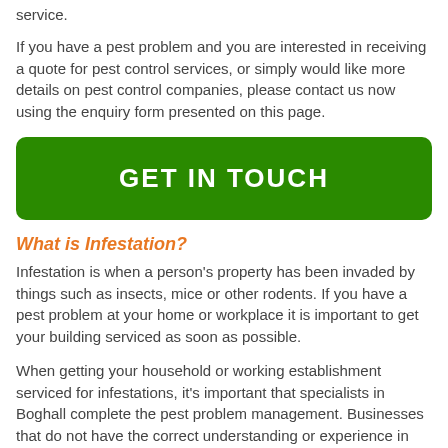service.
If you have a pest problem and you are interested in receiving a quote for pest control services, or simply would like more details on pest control companies, please contact us now using the enquiry form presented on this page.
[Figure (other): Green button with white bold text reading GET IN TOUCH]
What is Infestation?
Infestation is when a person's property has been invaded by things such as insects, mice or other rodents. If you have a pest problem at your home or workplace it is important to get your building serviced as soon as possible.
When getting your household or working establishment serviced for infestations, it's important that specialists in Boghall complete the pest problem management. Businesses that do not have the correct understanding or experience in the market might not eliminate all the insects and animals; this means you might find